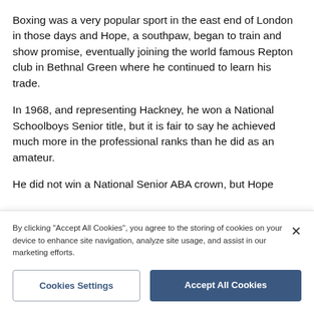Boxing was a very popular sport in the east end of London in those days and Hope, a southpaw, began to train and show promise, eventually joining the world famous Repton club in Bethnal Green where he continued to learn his trade.
In 1968, and representing Hackney, he won a National Schoolboys Senior title, but it is fair to say he achieved much more in the professional ranks than he did as an amateur.
He did not win a National Senior ABA crown, but Hope
By clicking "Accept All Cookies", you agree to the storing of cookies on your device to enhance site navigation, analyze site usage, and assist in our marketing efforts.